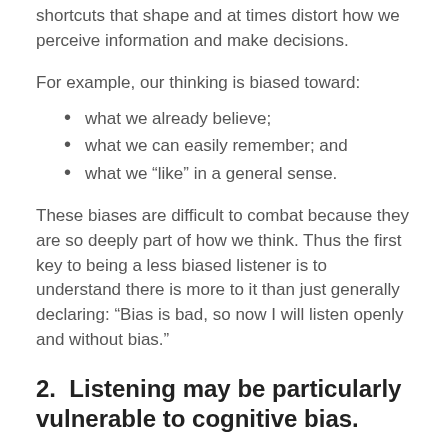shortcuts that shape and at times distort how we perceive information and make decisions.
For example, our thinking is biased toward:
what we already believe;
what we can easily remember; and
what we “like” in a general sense.
These biases are difficult to combat because they are so deeply part of how we think. Thus the first key to being a less biased listener is to understand there is more to it than just generally declaring: “Bias is bad, so now I will listen openly and without bias.”
2.  Listening may be particularly vulnerable to cognitive bias.